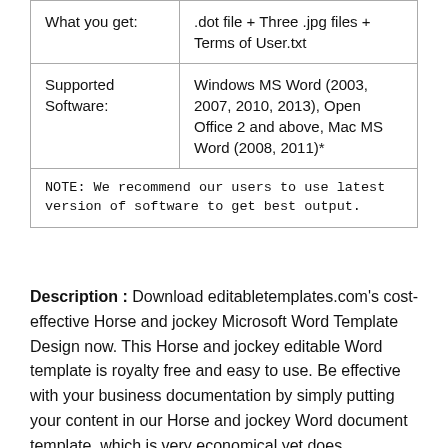| What you get: | .dot file + Three .jpg files + Terms of User.txt |
| Supported Software: | Windows MS Word (2003, 2007, 2010, 2013), Open Office 2 and above, Mac MS Word (2008, 2011)* |
| NOTE: We recommend our users to use latest version of software to get best output. |  |
Description : Download editabletemplates.com's cost-effective Horse and jockey Microsoft Word Template Design now. This Horse and jockey editable Word template is royalty free and easy to use. Be effective with your business documentation by simply putting your content in our Horse and jockey Word document template, which is very economical yet does